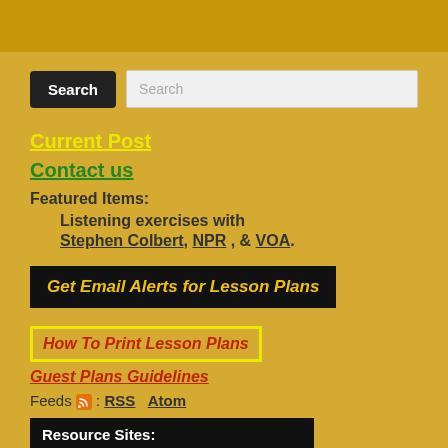Search [button] Search [input]
Current Post
Contact us
Featured Items:
Listening exercises with
Stephen Colbert, NPR, & VOA.
Get Email Alerts for Lesson Plans
How To Print Lesson Plans
Guest Plans Guidelines
Feeds : RSS  Atom
Resource Sites:
ESL and Native Americans:
Talking Feather